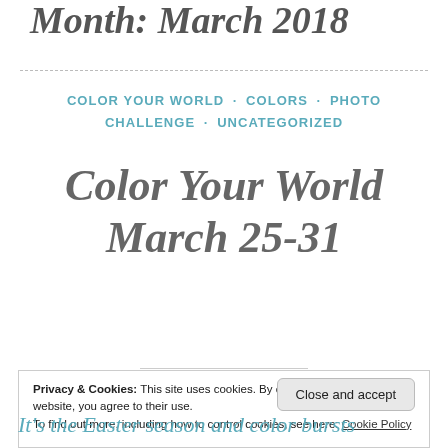Month: March 2018
COLOR YOUR WORLD · COLORS · PHOTO CHALLENGE · UNCATEGORIZED
Color Your World March 25-31
Privacy & Cookies: This site uses cookies. By continuing to use this website, you agree to their use.
To find out more, including how to control cookies, see here: Cookie Policy
Close and accept
It's the Easter season and color bursts